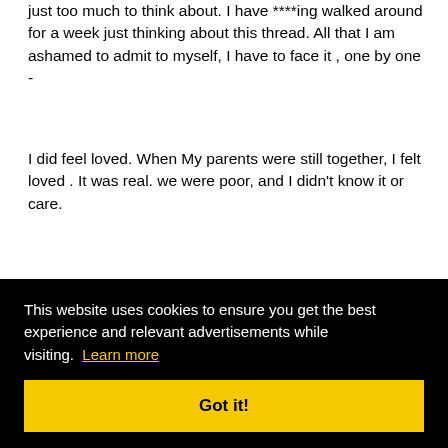just too much to think about. I have ****ing walked around for a week just thinking about this thread. All that I am ashamed to admit to myself, I have to face it , one by one -
I did feel loved. When My parents were still together, I felt loved . It was real. we were poor, and I didn't know it or care.
I had a 2 grandpas and two grandmas both on my moms side. Her dad and step mom lived in our county and her
e trips y - me fter low all me wide 3 0r 84 ure
wish I did--
This website uses cookies to ensure you get the best experience and relevant advertisements while visiting. Learn more
Got it!